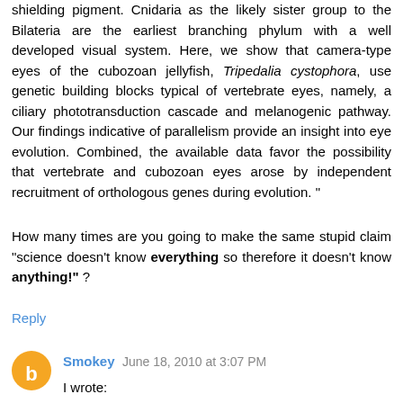shielding pigment. Cnidaria as the likely sister group to the Bilateria are the earliest branching phylum with a well developed visual system. Here, we show that camera-type eyes of the cubozoan jellyfish, Tripedalia cystophora, use genetic building blocks typical of vertebrate eyes, namely, a ciliary phototransduction cascade and melanogenic pathway. Our findings indicative of parallelism provide an insight into eye evolution. Combined, the available data favor the possibility that vertebrate and cubozoan eyes arose by independent recruitment of orthologous genes during evolution. "
How many times are you going to make the same stupid claim "science doesn't know everything so therefore it doesn't know anything!" ?
Reply
Smokey  June 18, 2010 at 3:07 PM
I wrote:
"You didn't even know that analyzing a new sequence